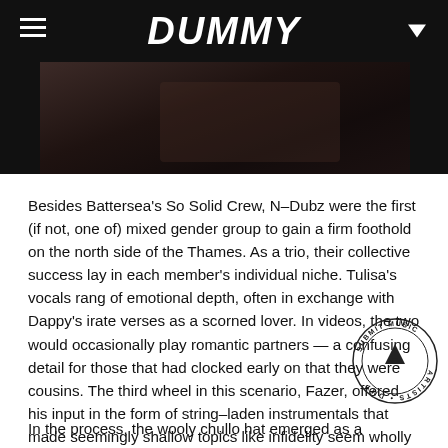DUMMY
[Figure (photo): Dark photograph showing partial figures, cropped at top of page]
Besides Battersea’s So Solid Crew, N-Dubz were the first (if not, one of) mixed gender group to gain a firm foothold on the north side of the Thames. As a trio, their collective success lay in each member’s individual niche. Tulisa’s vocals rang of emotional depth, often in exchange with Dappy’s irate verses as a scorned lover. In videos, the two would occasionally play romantic partners — a confusing detail for those that had clocked early on that they were cousins. The third wheel in this scenario, Fazer, offered his input in the form of string-laden instrumentals that made seemingly shallow topics like infidelity seem wholly more dramatic.
In the process, the wooly chullo hat emerged as a